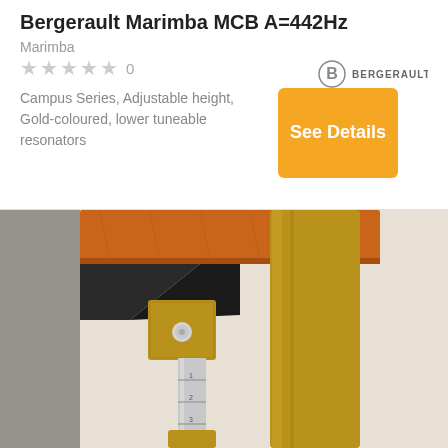Bergerault Marimba MCB A=442Hz
Marimba
0
[Figure (logo): Bergerault logo with stylized B in circle and BERGERAULT text]
Campus Series, Adjustable height, Gold-coloured, lower tuneable resonators
See Details
[Figure (photo): Close-up photo of Bergerault marimba MCB showing gold-coloured resonators, adjustable chrome height mechanism with numbered markings, and wooden bars at top]